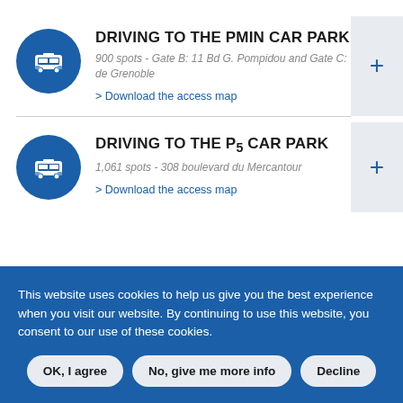DRIVING TO THE PMIN CAR PARK
900 spots - Gate B: 11 Bd G. Pompidou and Gate C: 73 route de Grenoble
> Download the access map
DRIVING TO THE P5 CAR PARK
1,061 spots - 308 boulevard du Mercantour
> Download the access map
This website uses cookies to help us give you the best experience when you visit our website. By continuing to use this website, you consent to our use of these cookies.
OK, I agree
No, give me more info
Decline